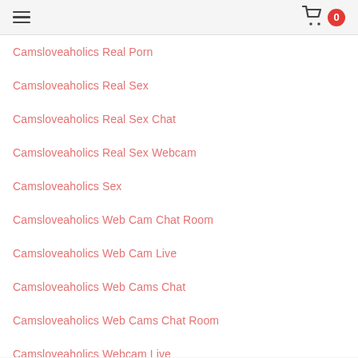Navigation menu with hamburger icon and cart with 0 items
Camsloveaholics Real Porn
Camsloveaholics Real Sex
Camsloveaholics Real Sex Chat
Camsloveaholics Real Sex Webcam
Camsloveaholics Sex
Camsloveaholics Web Cam Chat Room
Camsloveaholics Web Cam Live
Camsloveaholics Web Cams Chat
Camsloveaholics Web Cams Chat Room
Camsloveaholics Webcam Live